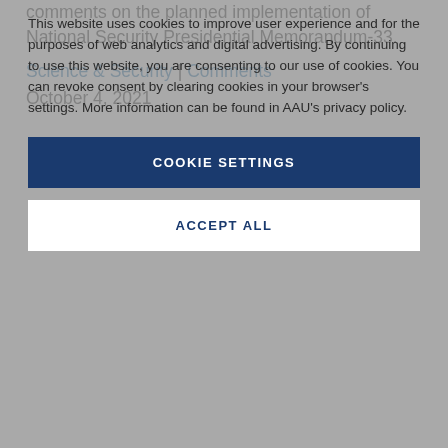comments on the planned implementation of National Security Presidential Memorandum-33.
Science & Security | Comments
October 4, 2021
This website uses cookies to improve user experience and for the purposes of web analytics and digital advertising. By continuing to use this website, you are consenting to our use of cookies. You can revoke consent by clearing cookies in your browser's settings. More information can be found in AAU's privacy policy.
COOKIE SETTINGS
ACCEPT ALL